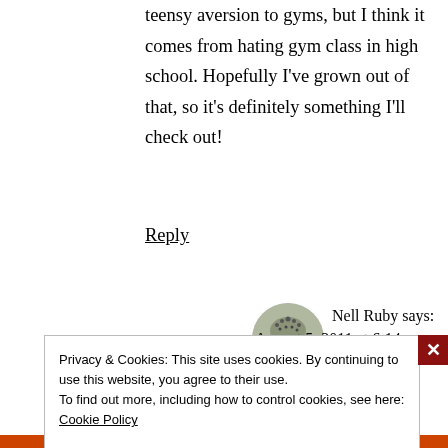teensy aversion to gyms, but I think it comes from hating gym class in high school. Hopefully I've grown out of that, so it's definitely something I'll check out!
Reply
Nell Ruby says:
August 5, 2011 at 6:14 pm
Privacy & Cookies: This site uses cookies. By continuing to use this website, you agree to their use.
To find out more, including how to control cookies, see here: Cookie Policy
Close and accept